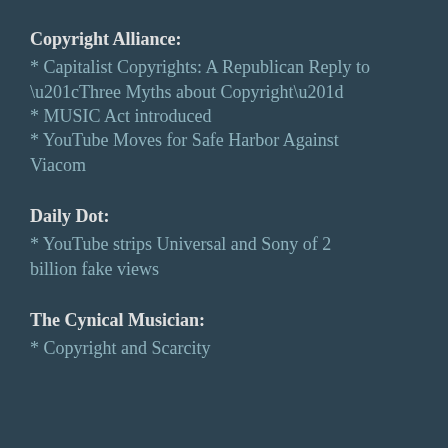Copyright Alliance:
* Capitalist Copyrights: A Republican Reply to “Three Myths about Copyright”
* MUSIC Act introduced
* YouTube Moves for Safe Harbor Against Viacom
Daily Dot:
* YouTube strips Universal and Sony of 2 billion fake views
The Cynical Musician:
* Copyright and Scarcity